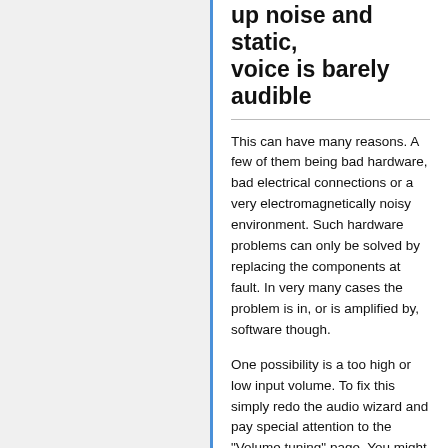up noise and static, voice is barely audible
This can have many reasons. A few of them being bad hardware, bad electrical connections or a very electromagnetically noisy environment. Such hardware problems can only be solved by replacing the components at fault. In very many cases the problem is in, or is amplified by, software though.
One possibility is a too high or low input volume. To fix this simply redo the audio wizard and pay special attention to the "Volume tuning" page. You might have to enable/disable microphone boost and/or